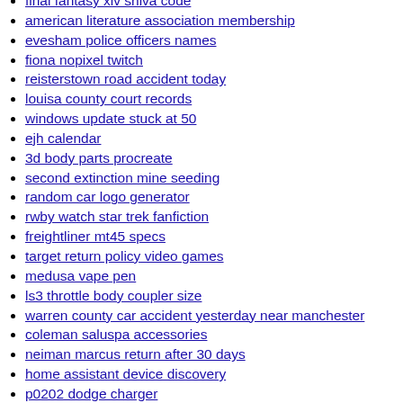final fantasy xiv shiva code
american literature association membership
evesham police officers names
fiona nopixel twitch
reisterstown road accident today
louisa county court records
windows update stuck at 50
ejh calendar
3d body parts procreate
second extinction mine seeding
random car logo generator
rwby watch star trek fanfiction
freightliner mt45 specs
target return policy video games
medusa vape pen
ls3 throttle body coupler size
warren county car accident yesterday near manchester
coleman saluspa accessories
neiman marcus return after 30 days
home assistant device discovery
p0202 dodge charger
new orleans attire in june
funeral home poughkeepsie
best toyota service center philippines
goldman sachs private wealth management reddit